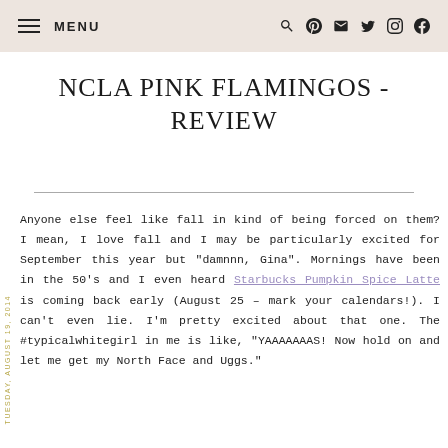≡ MENU  🔍 𝗣 ✉ 𝗧 ⊙ f
NCLA PINK FLAMINGOS - REVIEW
Anyone else feel like fall in kind of being forced on them? I mean, I love fall and I may be particularly excited for September this year but "damnnn, Gina". Mornings have been in the 50's and I even heard Starbucks Pumpkin Spice Latte is coming back early (August 25 – mark your calendars!). I can't even lie. I'm pretty excited about that one. The #typicalwhitegirl in me is like, "YAAAAAAAS! Now hold on and let me get my North Face and Uggs."